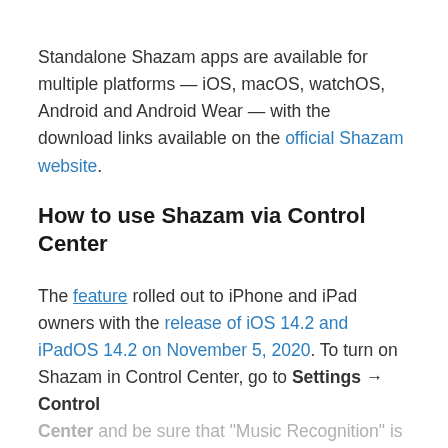Standalone Shazam apps are available for multiple platforms — iOS, macOS, watchOS, Android and Android Wear — with the download links available on the official Shazam website.
How to use Shazam via Control Center
The feature rolled out to iPhone and iPad owners with the release of iOS 14.2 and iPadOS 14.2 on November 5, 2020. To turn on Shazam in Control Center, go to Settings → Control Center and be sure that "Music Recognition" is included underneath the "Active Controls"